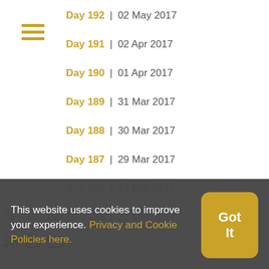Day 192 | 02 May 2017
Day 191 | 02 Apr 2017
Day 190 | 01 Apr 2017
Day 189 | 31 Mar 2017
Day 188 | 30 Mar 2017
Day 187 | 29 Mar 2017
Day 186 | 23 Mar 2017
Day 185 | 22 Mar 2017
Day 184 | 21 Mar 2017
Day 183 | 20 Mar 2017
Day 182 | 18 Mar 2017
This website uses cookies to improve your experience. Privacy and Cookie Policies here.
Got It